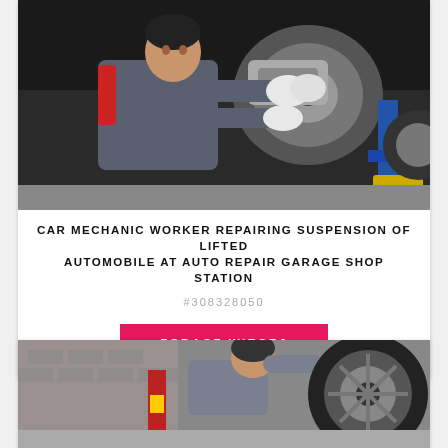[Figure (photo): Car mechanic worker in grey and red uniform with white gloves repairing suspension of lifted automobile at auto repair garage shop station, viewed from below]
CAR MECHANIC WORKER REPAIRING SUSPENSION OF LIFTED AUTOMOBILE AT AUTO REPAIR GARAGE SHOP STATION
#308328050
ZOBACZ WIĘCEJ
[Figure (photo): Mechanic working under a lifted car on a wheel/tire at an auto repair garage, viewed from below at ground level]